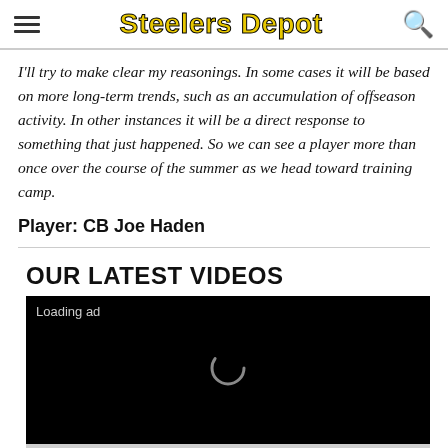Steelers Depot
I'll try to make clear my reasonings. In some cases it will be based on more long-term trends, such as an accumulation of offseason activity. In other instances it will be a direct response to something that just happened. So we can see a player more than once over the course of the summer as we head toward training camp.
Player: CB Joe Haden
OUR LATEST VIDEOS
[Figure (screenshot): Video player showing black screen with 'Loading ad' text and a loading spinner, partially visible grey area below]